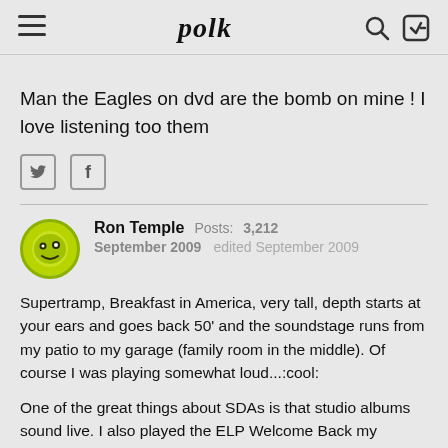polk
Man the Eagles on dvd are the bomb on mine ! I love listening too them
Ron Temple  Posts: 3,212  September 2009  edited September 2009
Supertramp, Breakfast in America, very tall, depth starts at your ears and goes back 50' and the soundstage runs from my patio to my garage (family room in the middle). Of course I was playing somewhat loud...:cool:
One of the great things about SDAs is that studio albums sound live. I also played the ELP Welcome Back my Friends concert disk later. The only difference in "I'm